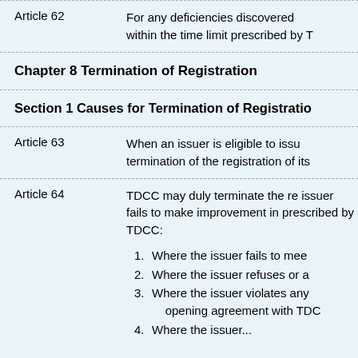Article 62    For any deficiencies discovered within the time limit prescribed by T
Chapter 8 Termination of Registration
Section 1 Causes for Termination of Registration
Article 63    When an issuer is eligible to issue termination of the registration of its
Article 64    TDCC may duly terminate the re issuer fails to make improvement in prescribed by TDCC:
1. Where the issuer fails to mee
2. Where the issuer refuses or a
3. Where the issuer violates any opening agreement with TDC
4. Where the issuer...